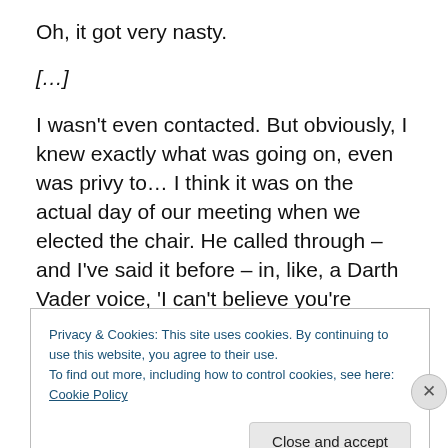Oh, it got very nasty.
[...]
I wasn't even contacted. But obviously, I knew exactly what was going on, even was privy to… I think it was on the actual day of our meeting when we elected the chair. He called through – and I've said it before – in, like, a Darth Vader voice, 'I can't believe you're willing to give up your political career.' Sorry, I can do a better Darth Vader voice than that, but that's what it was like. But like Freddy Krueger or something.
Privacy & Cookies: This site uses cookies. By continuing to use this website, you agree to their use.
To find out more, including how to control cookies, see here: Cookie Policy
Close and accept